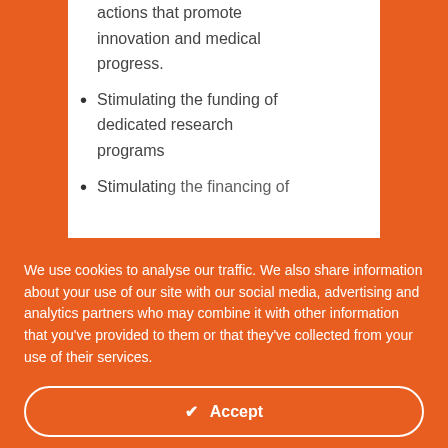supporting programs and actions that promote innovation and medical progress.
Stimulating the funding of dedicated research programs
Stimulating the financing of
We use cookies to analyse our traffic. We also share information about your use of our site with our social media, advertising and analytics partners who may combine it with other information that you've provided to them or that they've collected from your use of their services.
✔ Accept
Change Settings ⚙